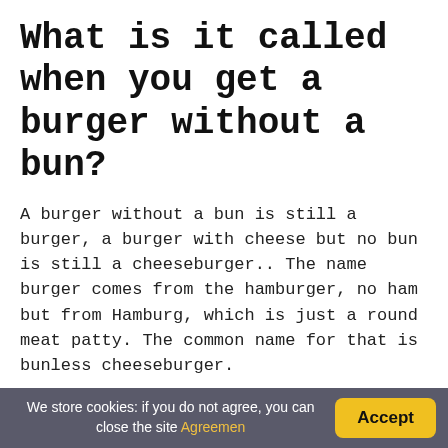What is it called when you get a burger without a bun?
A burger without a bun is still a burger, a burger with cheese but no bun is still a cheeseburger.. The name burger comes from the hamburger, no ham but from Hamburg, which is just a round meat patty. The common name for that is bunless cheeseburger.
What Is a Sissy Burger?
A “ Sissy Burger ” is a hamburger with mayonnaise and without ketchup or mustard. A hamburger with no onions.
What are the best burger
We store cookies: if you do not agree, you can close the site Agreemen